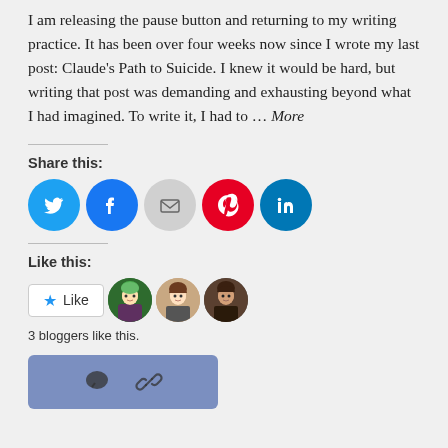I am releasing the pause button and returning to my writing practice. It has been over four weeks now since I wrote my last post: Claude's Path to Suicide. I knew it would be hard, but writing that post was demanding and exhausting beyond what I had imagined. To write it, I had to … More
Share this:
[Figure (infographic): Row of 5 social share buttons: Twitter (blue), Facebook (blue), Email (gray), Pinterest (red), LinkedIn (teal), each as a circle with icon]
Like this:
[Figure (infographic): Like button widget with star icon and 'Like' text, followed by 3 blogger avatar photos]
3 bloggers like this.
[Figure (infographic): Blue-gray action bar with comment bubble icon and chain link/share icon]